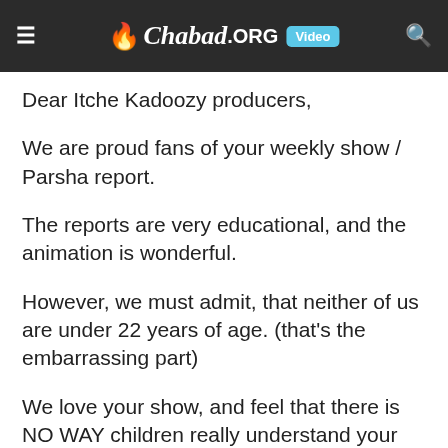Chabad.ORG Video
Dear Itche Kadoozy producers,
We are proud fans of your weekly show / Parsha report.
The reports are very educational, and the animation is wonderful.
However, we must admit, that neither of us are under 22 years of age. (that's the embarrassing part)
We love your show, and feel that there is NO WAY children really understand your humor...
We will be nominating you for next years Oscars, and hope you win!